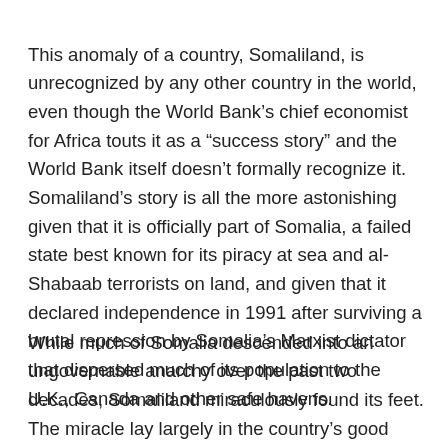This anomaly of a country, Somaliland, is unrecognized by any other country in the world, even though the World Bank's chief economist for Africa touts it as a “success story” and the World Bank itself doesn’t formally recognize it. Somaliland’s story is all the more astonishing given that it is officially part of Somalia, a failed state best known for its piracy at sea and al-Shabaab terrorists on land, and given that it declared independence in 1991 after surviving a brutal repression by Somalia’s Marxist dictator that dispersed much of its population to the U.K., Canada and other safe havens.
While much of Somalia descended into an ungovernable anarchy over the past two decades, Somaliland miraculously found its feet. The miracle lay largely in the country’s good fortune to have been in British hands over